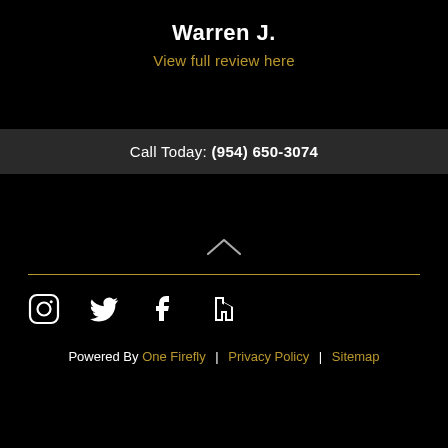Warren J.
View full review here
Call Today: (954) 650-3074
[Figure (illustration): Upward chevron/caret icon in white on black background, indicating scroll to top]
[Figure (illustration): Social media icons: Instagram, Twitter, Facebook, Houzz — white on black]
Powered By One Firefly | Privacy Policy | Sitemap